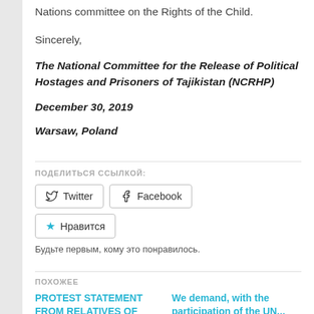Nations committee on the Rights of the Child.
Sincerely,
The National Committee for the Release of Political Hostages and Prisoners of Tajikistan (NCRHP)
December 30, 2019
Warsaw, Poland
ПОДЕЛИТЬСЯ ССЫЛКОЙ:
Twitter
Facebook
Нравится
Будьте первым, кому это понравилось.
ПОХОЖЕЕ
PROTEST STATEMENT FROM RELATIVES OF
We demand, with the participation of the UN...